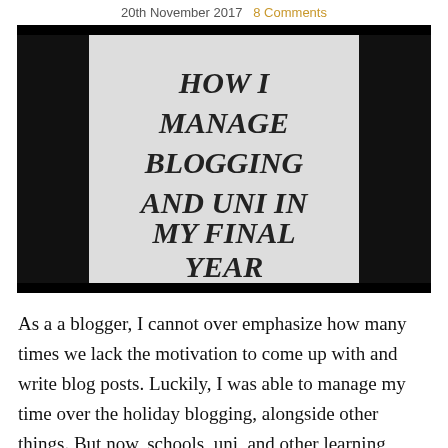20th November 2017   8 Comments
[Figure (photo): Black and white photo showing a white illuminated panel or book with the text 'HOW I MANAGE BLOGGING AND UNI IN MY FINAL YEAR' written in bold italic serif font, with dark/black areas on the sides.]
As a a blogger, I cannot over emphasize how many times we lack the motivation to come up with and write blog posts. Luckily, I was able to manage my time over the holiday blogging, alongside other things. But now, schools, uni, and other learning institutions